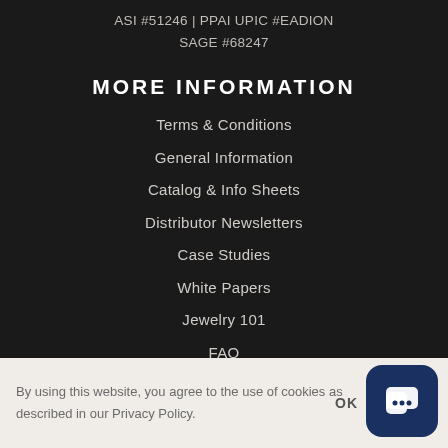ASI #51246 | PPAI UPIC #EADION
SAGE #68247
MORE INFORMATION
Terms & Conditions
General Information
Catalog & Info Sheets
Distributor Newsletters
Case Studies
White Papers
Jewelry 101
FAQ
By using this website, you agree to the use of cookies as described in our Privacy Policy.
OK